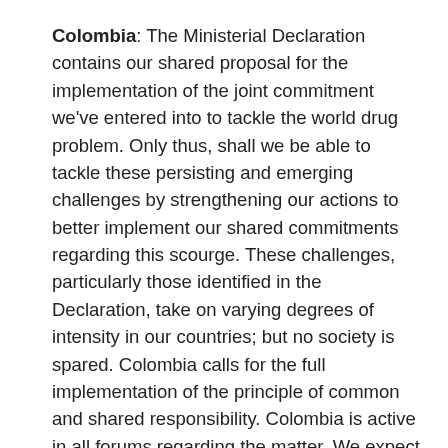Colombia: The Ministerial Declaration contains our shared proposal for the implementation of the joint commitment we've entered into to tackle the world drug problem. Only thus, shall we be able to tackle these persisting and emerging challenges by strengthening our actions to better implement our shared commitments regarding this scourge. These challenges, particularly those identified in the Declaration, take on varying degrees of intensity in our countries; but no society is spared. Colombia calls for the full implementation of the principle of common and shared responsibility. Colombia is active in all forums regarding the matter. We expect the same readiness from all states to address